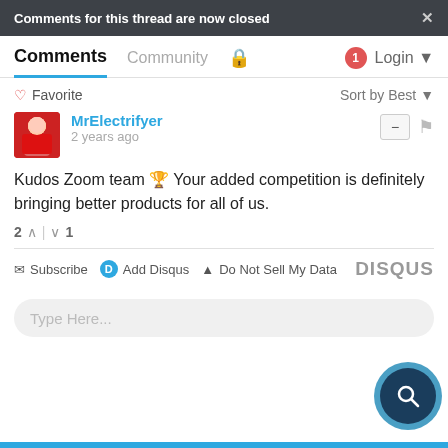Comments for this thread are now closed
Comments  Community  🔒  1  Login
♡ Favorite    Sort by Best
MrElectrifyer
2 years ago
Kudos Zoom team 🏆 Your added competition is definitely bringing better products for all of us.
2 ∧ | ∨ 1
✉ Subscribe  ⊙ Add Disqus  ⚠ Do Not Sell My Data  DISQUS